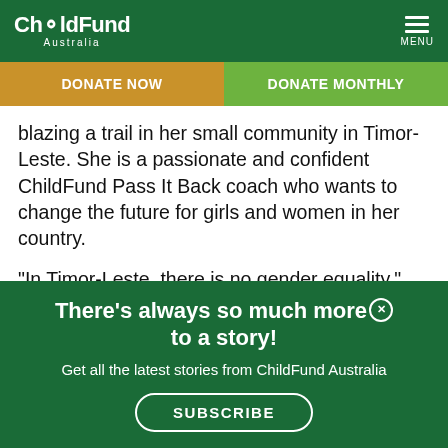ChildFund Australia
DONATE NOW | DONATE MONTHLY
blazing a trail in her small community in Timor-Leste. She is a passionate and confident ChildFund Pass It Back coach who wants to change the future for girls and women in her country.
“In Timor-Leste, there is no gender equality,” she says. “We still use this ancient system, where
There’s always so much more to a story! Get all the latest stories from ChildFund Australia SUBSCRIBE